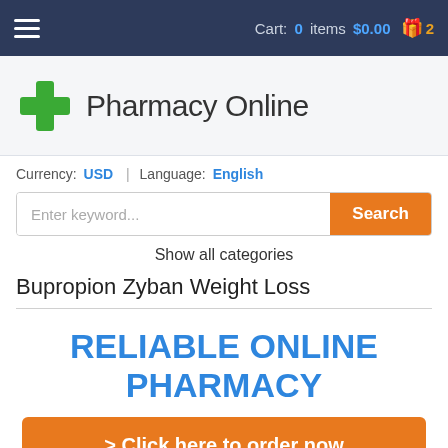Cart: 0 items $0.00  2
[Figure (logo): Pharmacy Online logo with green cross icon and text]
Currency: USD | Language: English
Enter keyword...  Search
Show all categories
Bupropion Zyban Weight Loss
RELIABLE ONLINE PHARMACY
> Click here to order now